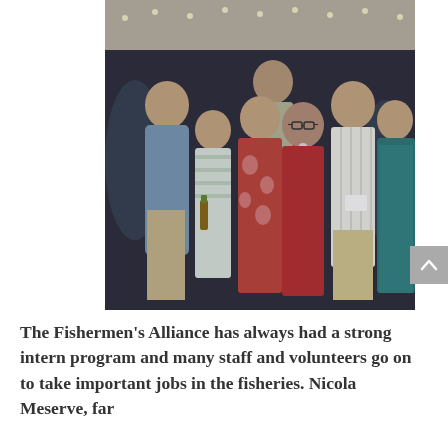[Figure (photo): Group photo of approximately seven people posing together at an outdoor evening event under a tent with string lights. People are dressed in summer attire including floral and striped dresses and casual shirts.]
The Fishermen's Alliance has always had a strong intern program and many staff and volunteers go on to take important jobs in the fisheries. Nicola Meserve, far